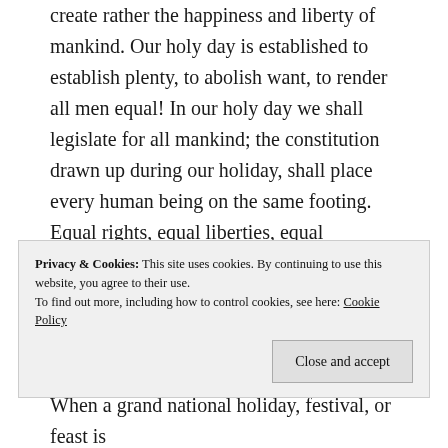create rather the happiness and liberty of mankind. Our holy day is established to establish plenty, to abolish want, to render all men equal! In our holy day we shall legislate for all mankind; the constitution drawn up during our holiday, shall place every human being on the same footing. Equal rights, equal liberties, equal enjoyments, equal toil, equal respect, equal share of production: this is the object of our holy day – of our sacred day, – of our festival!
When a grand national holiday, festival, or feast is
Privacy & Cookies: This site uses cookies. By continuing to use this website, you agree to their use. To find out more, including how to control cookies, see here: Cookie Policy
Close and accept
but political ones. Their feasts were generally held to